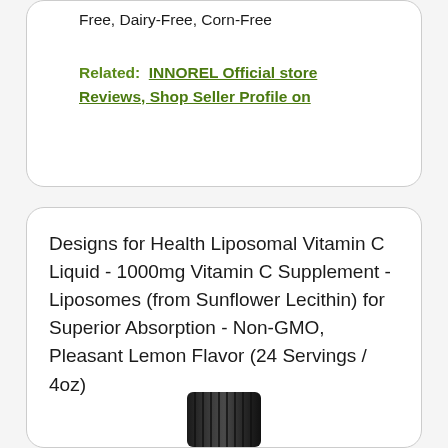Free, Dairy-Free, Corn-Free
Related:  INNOREL Official store Reviews, Shop Seller Profile on
Designs for Health Liposomal Vitamin C Liquid - 1000mg Vitamin C Supplement - Liposomes (from Sunflower Lecithin) for Superior Absorption - Non-GMO, Pleasant Lemon Flavor (24 Servings / 4oz)
[Figure (photo): Bottom portion of a dark/black bottle cap visible at the bottom of the card]